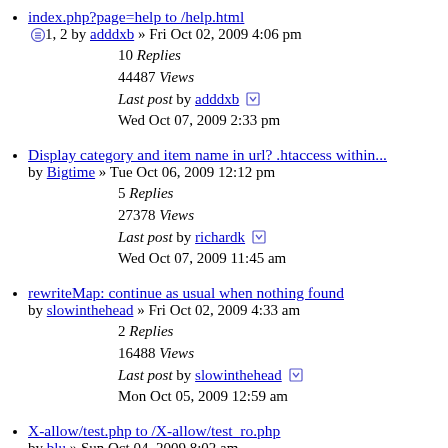index.php?page=help to /help.html by adddxb » Fri Oct 02, 2009 4:06 pm
10 Replies
44487 Views
Last post by adddxb Wed Oct 07, 2009 2:33 pm
Display category and item name in url? .htaccess within... by Bigtime » Tue Oct 06, 2009 12:12 pm
5 Replies
27378 Views
Last post by richardk Wed Oct 07, 2009 11:45 am
rewriteMap: continue as usual when nothing found by slowinthehead » Fri Oct 02, 2009 4:33 am
2 Replies
16488 Views
Last post by slowinthehead Mon Oct 05, 2009 12:59 am
X-allow/test.php to /X-allow/test_ro.php by blu » Sun Oct 04, 2009 8:02 am
3 Replies
15604 Views